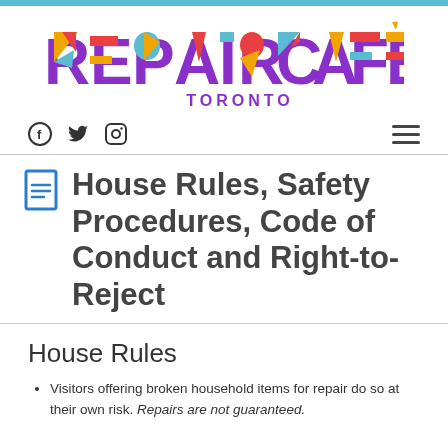[Figure (logo): Repair Café Toronto colorful logo with geometric lettering in orange, teal, red, yellow and purple]
Social media icons (Facebook, Twitter, Instagram) and hamburger menu icon
House Rules, Safety Procedures, Code of Conduct and Right-to-Reject
House Rules
Visitors offering broken household items for repair do so at their own risk. Repairs are not guaranteed.